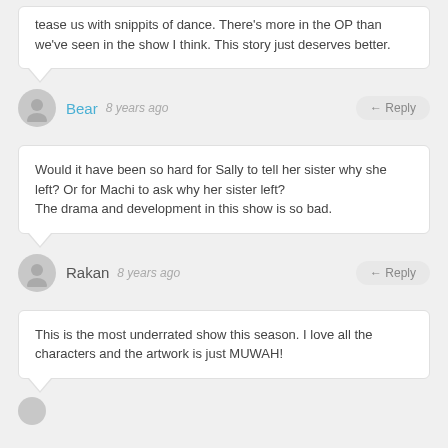tease us with snippits of dance. There's more in the OP than we've seen in the show I think. This story just deserves better.
Bear · 8 years ago · ← Reply
Would it have been so hard for Sally to tell her sister why she left? Or for Machi to ask why her sister left?
The drama and development in this show is so bad.
Rakan · 8 years ago · ← Reply
This is the most underrated show this season. I love all the characters and the artwork is just MUWAH!